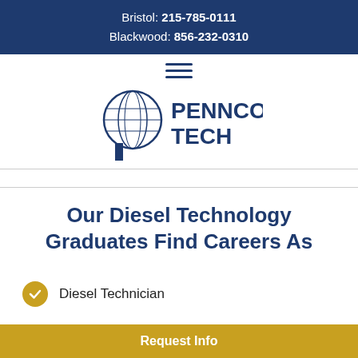Bristol: 215-785-0111 Blackwood: 856-232-0310
[Figure (logo): Pennco Tech logo with globe inside letter P and text PENNCO TECH]
Our Diesel Technology Graduates Find Careers As
Diesel Technician
Request Info